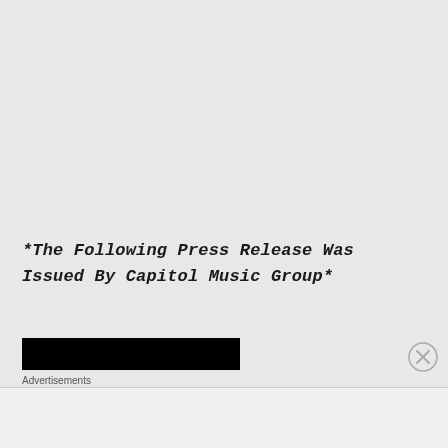*The Following Press Release Was Issued By Capitol Music Group*
[Figure (other): Black advertisement banner rectangle]
Advertisements